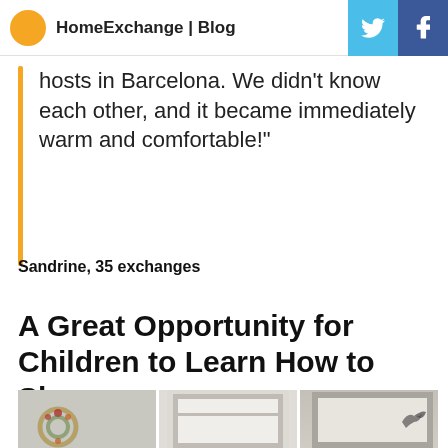HomeExchange | Blog
hosts in Barcelona. We didn't know each other, and it became immediately warm and comfortable!"
Sandrine, 35 exchanges
A Great Opportunity for Children to Learn How to Share.
[Figure (photo): Interior photo showing white door frames and panels of a home hallway with a decorative wreath on the left panel and a small decorative bird on the right panel.]